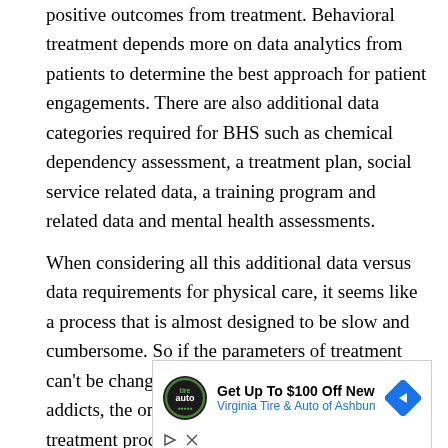positive outcomes from treatment. Behavioral treatment depends more on data analytics from patients to determine the best approach for patient engagements. There are also additional data categories required for BHS such as chemical dependency assessment, a treatment plan, social service related data, a training program and related data and mental health assessments.
When considering all this additional data versus data requirements for physical care, it seems like a process that is almost designed to be slow and cumbersome. So if the parameters of treatment can’t be changed to accommodate the surge in addicts, the only other consideration is the treatment process.
[Figure (other): Advertisement for Virginia Tire & Auto of Ashburn Farms offering Get Up To $100 Off New Brakes, with logo and navigation arrow icon.]